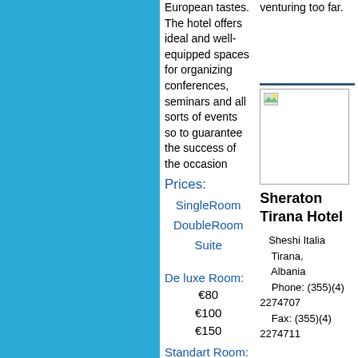European tastes. The hotel offers ideal and well-equipped spaces for organizing conferences, seminars and all sorts of events so to guarantee the success of the occasion
Prices:
SingleRoom
DoubleRoom
Suite
De luxe Room:
€80
€100
€150
Standart Room:
€70
venturing too far.
[Figure (photo): Hotel photo placeholder]
Sheraton Tirana Hotel
Sheshi Italia
    Tirana,
    Albania
    Phone: (355)(4) 2274707
    Fax: (355)(4) 2274711